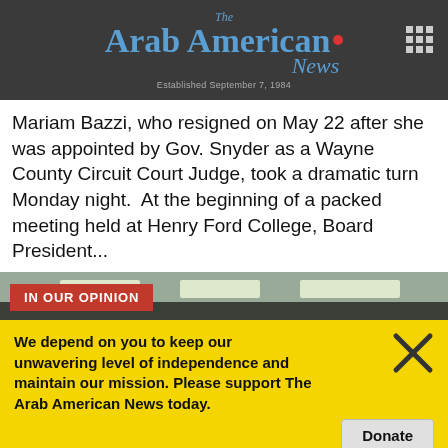The Arab American News — Established September 7, 1984
Mariam Bazzi, who resigned on May 22 after she was appointed by Gov. Snyder as a Wayne County Circuit Court Judge, took a dramatic turn Monday night.  At the beginning of a packed meeting held at Henry Ford College, Board President...
[Figure (photo): Interior of a meeting room or auditorium with overhead fluorescent lights, people visible including a camera operator on left, white display boards or banners along the back wall, and a person in green on the right side. A red badge overlay reads 'IN OUR OPINION'.]
We depend on you to keep our unwavering level of independence and maintain our mission. Please support The Arab American News today.